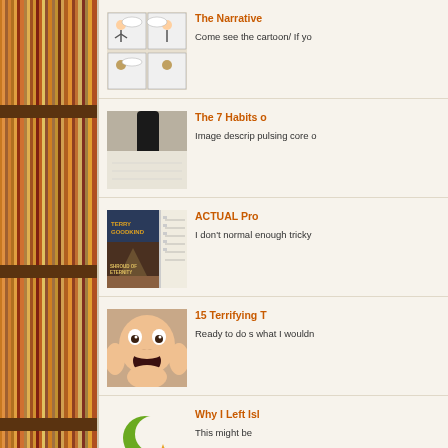[Figure (photo): Bookshelf with colorful books on wooden shelves]
[Figure (illustration): Comic strip thumbnail with cartoon characters]
The Narrative
Come see the cartoon/ If yo
[Figure (photo): Close-up of a fountain pen writing]
The 7 Habits o
Image descrip pulsing core o
[Figure (photo): Terry Goodkind Shroud of Eternity book cover]
ACTUAL Pro
I don't normal enough tricky
[Figure (photo): Person with shocked/scared expression, hands on cheeks]
15 Terrifying T
Ready to do s what I wouldn
[Figure (illustration): Islamic crescent and star logo]
Why I Left Isl
This might be